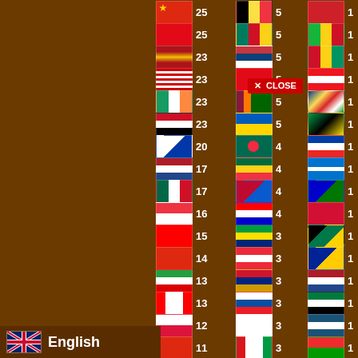[Figure (infographic): List of country flags with numeric counts arranged in three columns on dark brown background. Column 1: China 25, Turkey 25, Spain 23, Malaysia 23, Ireland 23, Egypt 23, Philippines 20, Netherlands 17, Mexico 17, Singapore 16, Taiwan 15, China(HK) 14, Ireland 13, Canada 13, Poland 12, Hong Kong 11, Argentina 11. Column 2: Belgium 5, Cameroon 5, Serbia 5, Turkey 5, Sri Lanka 5, Ukraine 5, Bangladesh 4, Ghana 4, Puerto Rico 4, Croatia 4, Brazil 3, Austria 3, Venezuela 3, Slovakia 3, Georgia 3, Oman 3, Peru 3. Column 3: Macedonia 1, Mali 1, Guinea 1, Lebanon 1, Seychelles 1, Mozambique 1, Slovenia 1, Honduras 1, Solomon Islands 1, Maldives 1, Jamaica 1, Bosnia 1, Netherlands 1, Jordan 1, Nicaragua 1, Burkina Faso 1, Nepal 1, Kuwait 1. Bottom left: English language button with UK flag.]
English